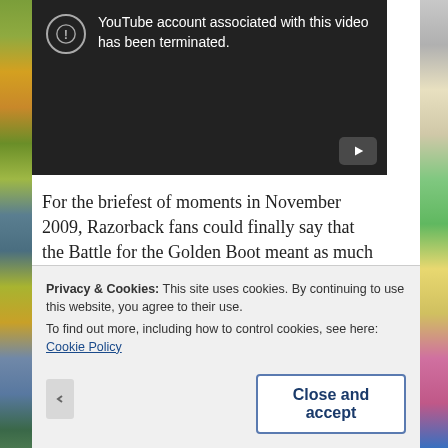[Figure (screenshot): YouTube video embed showing error message: account associated with this video has been terminated. Dark background with play button in bottom right corner.]
For the briefest of moments in November 2009, Razorback fans could finally say that the Battle for the Golden Boot meant as much to LSU as it did to Arkansas.
Privacy & Cookies: This site uses cookies. By continuing to use this website, you agree to their use. To find out more, including how to control cookies, see here: Cookie Policy